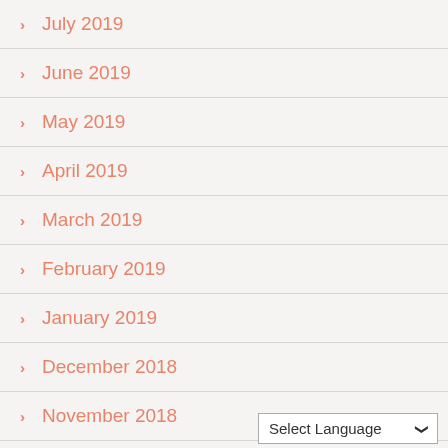> July 2019
> June 2019
> May 2019
> April 2019
> March 2019
> February 2019
> January 2019
> December 2018
> November 2018
> October 2018
Select Language